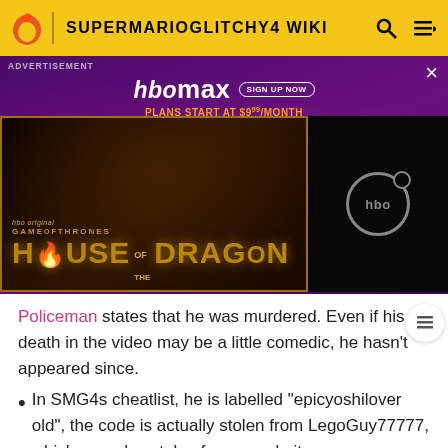SUPERMARIOGLITCHY4 WIKI
[Figure (screenshot): HBO Max advertisement banner featuring House of the Dragon promo image on the left panel with gold dragon text, and an HBO logo on a dark right panel. Purple starry background. Sign up now button visible.]
Policeman states that he was murdered. Even if his death in the video may be a little comedic, he hasn't appeared since.
In SMG4s cheatlist, he is labelled "epicyoshilover old", the code is actually stolen from LegoGuy77777, which was also stolen from a website.
External links